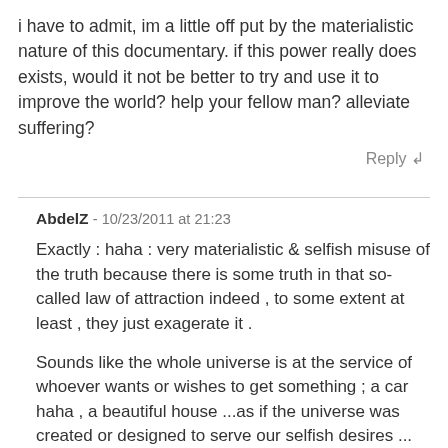i have to admit, im a little off put by the materialistic nature of this documentary. if this power really does exists, would it not be better to try and use it to improve the world? help your fellow man? alleviate suffering?
Reply ↲
AbdelZ - 10/23/2011 at 21:23
Exactly : haha : very materialistic & selfish misuse of the truth because there is some truth in that so-called law of attraction indeed , to some extent at least , they just exagerate it .
Sounds like the whole universe is at the service of whoever wants or wishes to get something ; a car haha , a beautiful house ...as if the universe was created or designed to serve our selfish desires ...
what if my selfish wishes get in conflict with those of others trying to make the universe " rearrange " itself